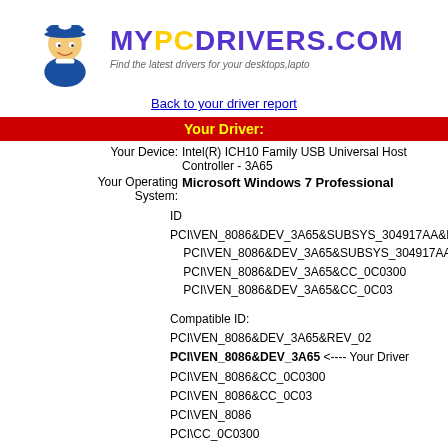[Figure (logo): MYPCDRIVERS.COM logo with mascot (person in cap) and tagline: Find the latest drivers for your desktops, laptops]
Back to your driver report
Your Driver:
Your Device: Intel(R) ICH10 Family USB Universal Host Controller - 3A65
Your Operating System: Microsoft Windows 7 Professional
ID PCI\VEN_8086&DEV_3A65&SUBSYS_304917AA&REV_02
PCI\VEN_8086&DEV_3A65&SUBSYS_304917AA
PCI\VEN_8086&DEV_3A65&CC_0C0300
PCI\VEN_8086&DEV_3A65&CC_0C03
Compatible ID:
PCI\VEN_8086&DEV_3A65&REV_02
PCI\VEN_8086&DEV_3A65 <---- Your Driver
PCI\VEN_8086&CC_0C0300
PCI\VEN_8086&CC_0C03
PCI\VEN_8086
PCI\CC_0C0300
PCI\CC_0C03
Version 9.1.9.1006,2013-07-31
Can not find your drivers? Click here to request for h
Our Drivers
Notice: There are many drivers available for your device - please sel If for any reason, one driver doesn't work - try another o